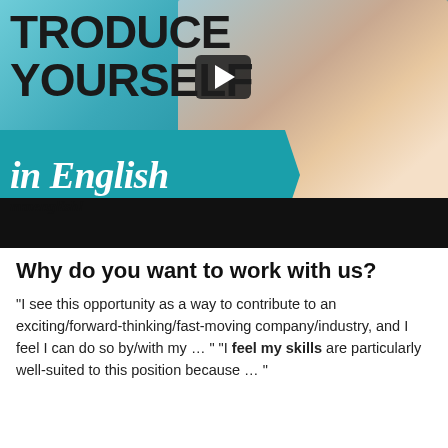[Figure (screenshot): Video thumbnail showing a woman smiling and waving, with overlay text reading 'INTRODUCE YOURSELF' and 'in English' on a teal banner. A play button is visible. Bottom of thumbnail shows 'mmenglish!' text and a black bar.]
Why do you want to work with us?
"I see this opportunity as a way to contribute to an exciting/forward-thinking/fast-moving company/industry, and I feel I can do so by/with my … " "I feel my skills are particularly well-suited to this position because … "